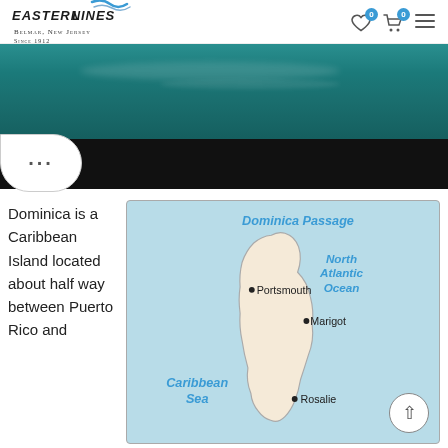Eastern Lines — Belmar, New Jersey — Since 1912
[Figure (photo): Hero image of ocean water (teal/dark teal) above a black band, with a chat bubble showing '...' in the lower left]
Dominica is a Caribbean Island located about half way between Puerto Rico and
[Figure (map): Map of Dominica island showing Dominica Passage to the north, North Atlantic Ocean to the east, Caribbean Sea to the southwest. Cities labeled: Portsmouth (northwest), Marigot (east), Rosalie (southeast).]